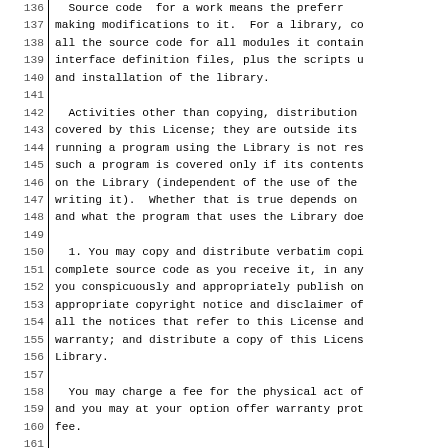Lines 136-166 of a software license (LGPL), showing text about source code, activities other than copying, verbatim copying permissions, fee charging, and modification rights.